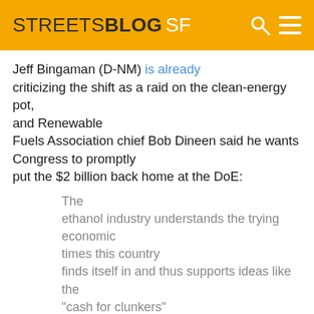STREETSBLOG SF
Jeff Bingaman (D-NM) is already criticizing the shift as a raid on the clean-energy pot, and Renewable Fuels Association chief Bob Dineen said he wants Congress to promptly put the $2 billion back home at the DoE:
The ethanol industry understands the trying economic times this country finds itself in and thus supports ideas like the "cash for clunkers" program, but is concerned to see the program paid for by depleting the renewable energy loan guarantee program. We